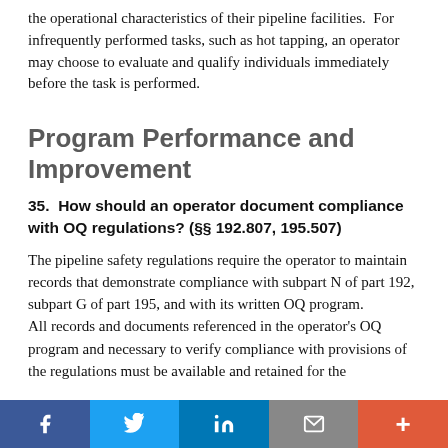the operational characteristics of their pipeline facilities. For infrequently performed tasks, such as hot tapping, an operator may choose to evaluate and qualify individuals immediately before the task is performed.
Program Performance and Improvement
35.  How should an operator document compliance with OQ regulations? (§§ 192.807, 195.507)
The pipeline safety regulations require the operator to maintain records that demonstrate compliance with subpart N of part 192, subpart G of part 195, and with its written OQ program.
All records and documents referenced in the operator's OQ program and necessary to verify compliance with provisions of the regulations must be available and retained for the